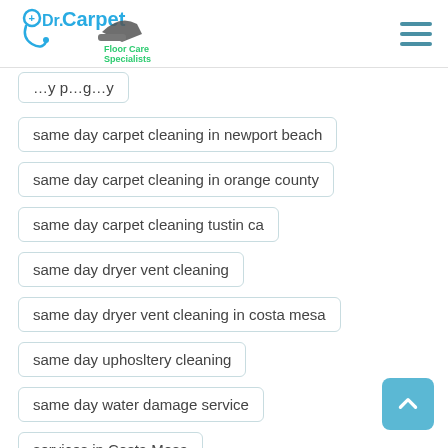Dr. Carpet Floor Care Specialists
same day carpet cleaning in newport beach
same day carpet cleaning in orange county
same day carpet cleaning tustin ca
same day dryer vent cleaning
same day dryer vent cleaning in costa mesa
same day uphosltery cleaning
same day water damage service
services in Costa Mesa